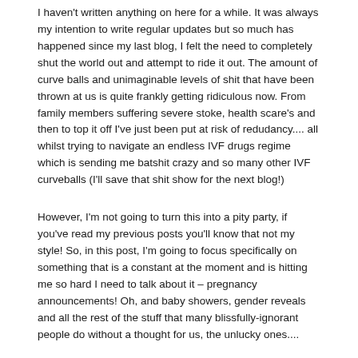I haven't written anything on here for a while. It was always my intention to write regular updates but so much has happened since my last blog, I felt the need to completely shut the world out and attempt to ride it out. The amount of curve balls and unimaginable levels of shit that have been thrown at us is quite frankly getting ridiculous now. From family members suffering severe stoke, health scare's and then to top it off I've just been put at risk of redudancy.... all whilst trying to navigate an endless IVF drugs regime which is sending me batshit crazy and so many other IVF curveballs (I'll save that shit show for the next blog!)
However, I'm not going to turn this into a pity party, if you've read my previous posts you'll know that not my style! So, in this post, I'm going to focus specifically on something that is a constant at the moment and is hitting me so hard I need to talk about it – pregnancy announcements! Oh, and baby showers, gender reveals and all the rest of the stuff that many blissfully-ignorant people do without a thought for us, the unlucky ones....